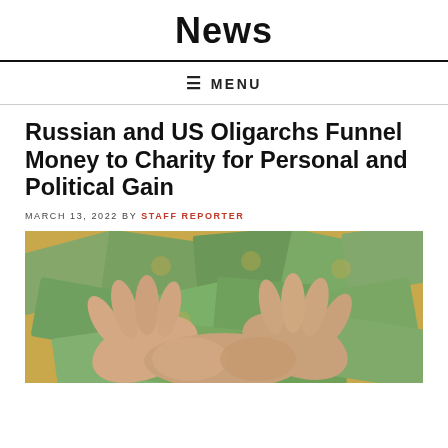News
☰ MENU
Russian and US Oligarchs Funnel Money to Charity for Personal and Political Gain
MARCH 13, 2022 BY STAFF REPORTER
[Figure (photo): Two hands cupping and gathering a pile of US dollar bills spread across a surface]